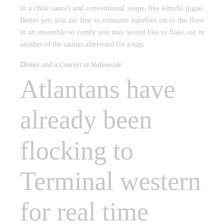in a chile sauce) and conventional soups, like kimchi jjigae. Better yet, you are free to consume barefoot on to the floor in an ensemble so comfy you may would like to flake out in another of the saunas afterward for a nap.
Dinner and a Concert at Stationside
Atlantans have already been flocking to Terminal western for real time music since 2012, however the addition of